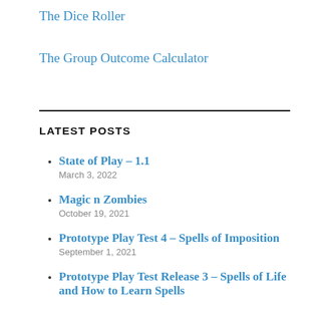The Dice Roller
The Group Outcome Calculator
LATEST POSTS
State of Play – 1.1
March 3, 2022
Magic n Zombies
October 19, 2021
Prototype Play Test 4 – Spells of Imposition
September 1, 2021
Prototype Play Test Release 3 – Spells of Life and How to Learn Spells